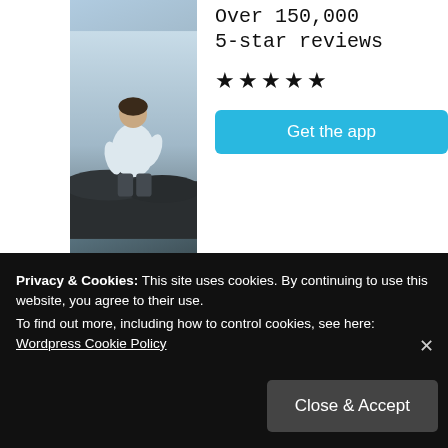[Figure (photo): Person sitting with back turned, white t-shirt, dark rocks, outdoor scene]
Over 150,000
5-star reviews
★★★★★
Get the app
REPORT THIS AD
SITE CREDITS
Tomb Raider Horizons (2013-2022) is an independent, fan-run website. It is not affiliated with Crystal Dynamics,
Privacy & Cookies: This site uses cookies. By continuing to use this website, you agree to their use.
To find out more, including how to control cookies, see here: Wordpress Cookie Policy
Close & Accept